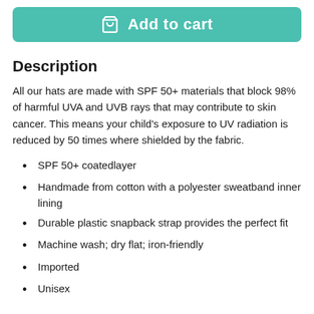[Figure (other): Add to cart button with shopping cart icon, teal/green background]
Description
All our hats are made with SPF 50+ materials that block 98% of harmful UVA and UVB rays that may contribute to skin cancer. This means your child's exposure to UV radiation is reduced by 50 times where shielded by the fabric.
SPF 50+ coatedlayer
Handmade from cotton with a polyester sweatband inner lining
Durable plastic snapback strap provides the perfect fit
Machine wash; dry flat; iron-friendly
Imported
Unisex